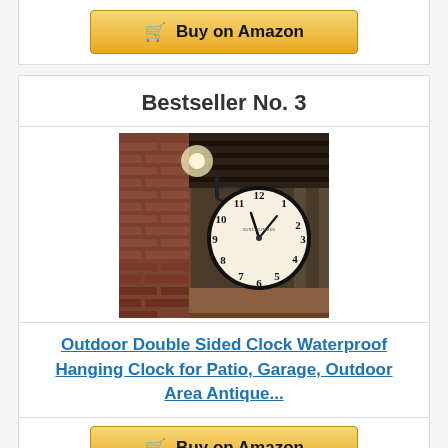Buy on Amazon (top button)
Bestseller No. 3
[Figure (photo): Outdoor double-sided clock hanging in a brick arcade/train station corridor, showing a white analog clock face with black numerals suspended by ornate black metal bracket from the ceiling.]
Outdoor Double Sided Clock Waterproof Hanging Clock for Patio, Garage, Outdoor Area Antique...
Buy on Amazon (bottom button)